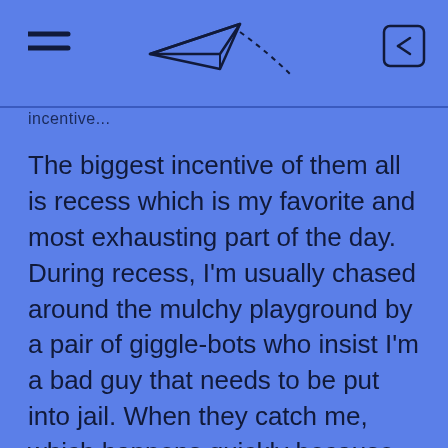[hamburger menu icon] [paper airplane icon] [login icon]
incentive...
The biggest incentive of them all is recess which is my favorite and most exhausting part of the day. During recess, I'm usually chased around the mulchy playground by a pair of giggle-bots who insist I'm a bad guy that needs to be put into jail. When they catch me, which happens quickly because my adulting shoes are always failing me, they lead me to jail ( a glorious spot in the shade) and give me a stern talking to. They usually say something like “stop being bad (insert giggle)” and then let me go. I wish the